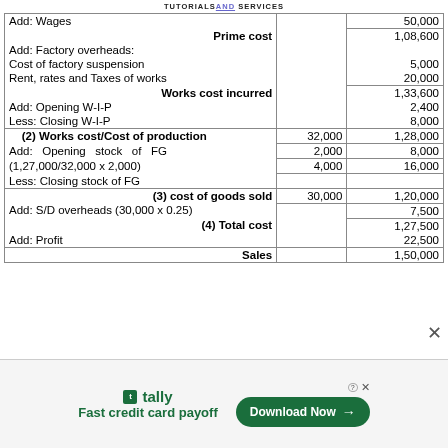TUTORIALS AND SERVICES
| Description | Amount | Amount |
| --- | --- | --- |
| Add: Wages |  | 50,000 |
| Prime cost |  | 1,08,600 |
| Add: Factory overheads: |  |  |
| Cost of factory suspension |  | 5,000 |
| Rent, rates and Taxes of works |  | 20,000 |
| Works cost incurred |  | 1,33,600 |
| Add: Opening W-I-P |  | 2,400 |
| Less: Closing W-I-P |  | 8,000 |
| (2) Works cost/Cost of production | 32,000 | 1,28,000 |
| Add:  Opening stock of FG | 2,000 | 8,000 |
| (1,27,000/32,000 x 2,000) | 4,000 | 16,000 |
| Less: Closing stock of FG |  |  |
| (3) cost of goods sold | 30,000 | 1,20,000 |
| Add: S/D overheads (30,000 x 0.25) |  | 7,500 |
| (4) Total cost |  | 1,27,500 |
| Add: Profit |  | 22,500 |
| Sales |  | 1,50,000 |
[Figure (screenshot): Tally advertisement banner with 'Fast credit card payoff' text and 'Download Now' button]